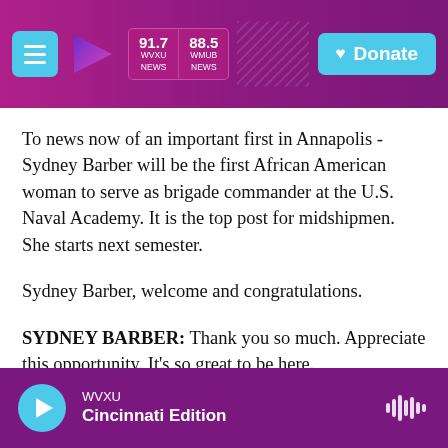WVXU 91.7 NEWS | 88.5 WMUB NEWS | Donate
To news now of an important first in Annapolis - Sydney Barber will be the first African American woman to serve as brigade commander at the U.S. Naval Academy. It is the top post for midshipmen. She starts next semester.
Sydney Barber, welcome and congratulations.
SYDNEY BARBER: Thank you so much. Appreciate this opportunity. It's so great to be here.
KELLY: Oh, we're very happy that you're with us. Tell me, what does a brigade commander do?
WVXU — Cincinnati Edition